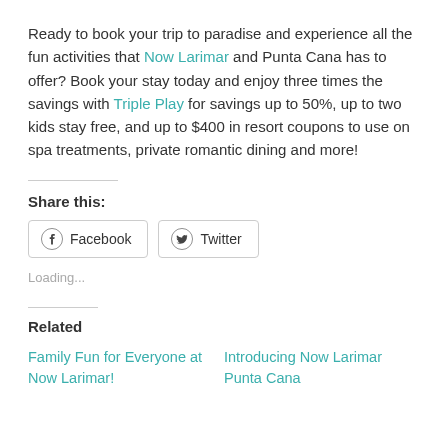Ready to book your trip to paradise and experience all the fun activities that Now Larimar and Punta Cana has to offer? Book your stay today and enjoy three times the savings with Triple Play for savings up to 50%, up to two kids stay free, and up to $400 in resort coupons to use on spa treatments, private romantic dining and more!
Share this:
[Figure (other): Facebook and Twitter share buttons]
Loading...
Related
Family Fun for Everyone at Now Larimar!
Introducing Now Larimar Punta Cana